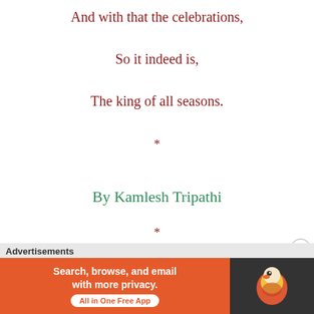And with that the celebrations,
So it indeed is,
The king of all seasons.
*
By Kamlesh Tripathi
*
https://kamleshsujata.wordpress.com
*
Advertisements
[Figure (other): DuckDuckGo advertisement banner: orange background with text 'Search, browse, and email with more privacy. All in One Free App' and DuckDuckGo logo on dark background]